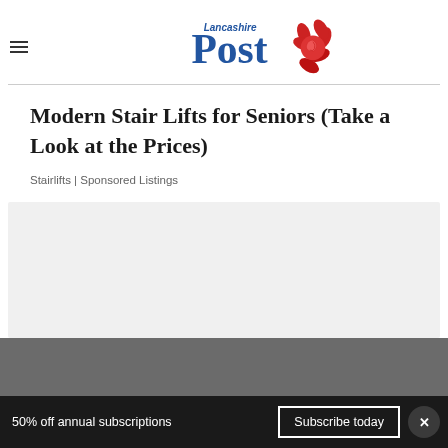Lancashire Post
Modern Stair Lifts for Seniors (Take a Look at the Prices)
Stairlifts | Sponsored Listings
[Figure (other): Gray placeholder content area]
50% off annual subscriptions
Subscribe today